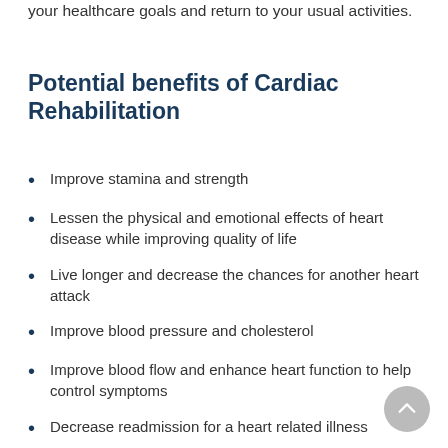your healthcare goals and return to your usual activities.
Potential benefits of Cardiac Rehabilitation
Improve stamina and strength
Lessen the physical and emotional effects of heart disease while improving quality of life
Live longer and decrease the chances for another heart attack
Improve blood pressure and cholesterol
Improve blood flow and enhance heart function to help control symptoms
Decrease readmission for a heart related illness